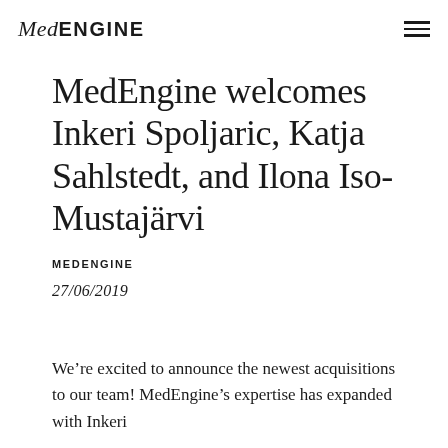MedENGINE
MedEngine welcomes Inkeri Spoljaric, Katja Sahlstedt, and Ilona Iso-Mustajärvi
MEDENGINE
27/06/2019
We're excited to announce the newest acquisitions to our team! MedEngine's expertise has expanded with Inkeri